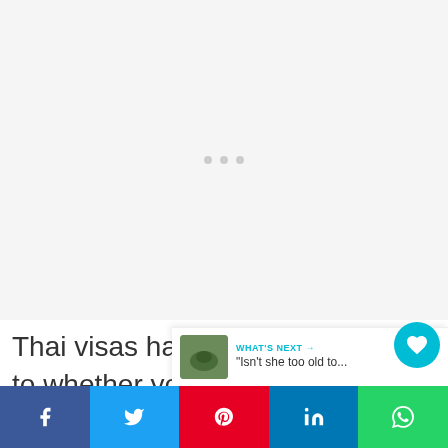[Figure (other): Advertisement placeholder area with three gray dots in the center on a light gray background]
Thai visas have various rules as to whether you need to get the visa on arrival (for a shorter length of
[Figure (infographic): Social share bar at bottom with Facebook, Twitter, Pinterest, LinkedIn, and WhatsApp buttons. Heart/like button showing 6 likes. Share icon. What's Next panel showing thumbnail and text: 'Isn't she too old to...']